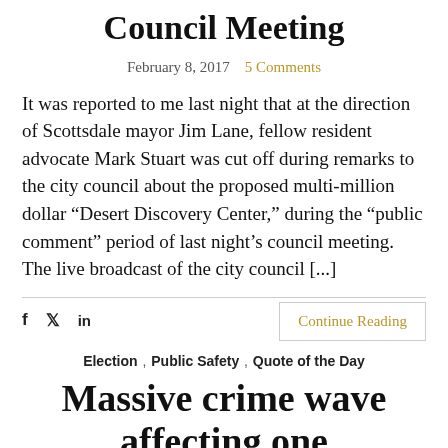Council Meeting
February 8, 2017   5 Comments
It was reported to me last night that at the direction of Scottsdale mayor Jim Lane, fellow resident advocate Mark Stuart was cut off during remarks to the city council about the proposed multi-million dollar “Desert Discovery Center,” during the “public comment” period of last night’s council meeting. The live broadcast of the city council [...]
Continue Reading
Election , Public Safety , Quote of the Day
Massive crime wave affecting one